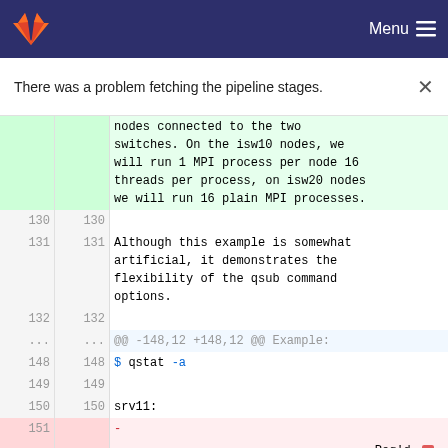Menu (GitLab navigation bar)
There was a problem fetching the pipeline stages.
| line_old | line_new | code |
| --- | --- | --- |
|  |  | nodes connected to the two switches. On the isw10 nodes, we will run 1 MPI process per node 16 threads per process, on isw20 nodes we will run 16 plain MPI processes. |
| 130 | 130 |  |
| 131 | 131 | Although this example is somewhat artificial, it demonstrates the flexibility of the qsub command options. |
| 132 | 132 |  |
| ... | ... | @@ -148,12 +148,12 @@ Example: |
| 148 | 148 | $ qstat -a |
| 149 | 149 |  |
| 150 | 150 | srv11: |
| 151 |  | - |
|  |  | Req'd |
|  |  | Req'd  Elap |